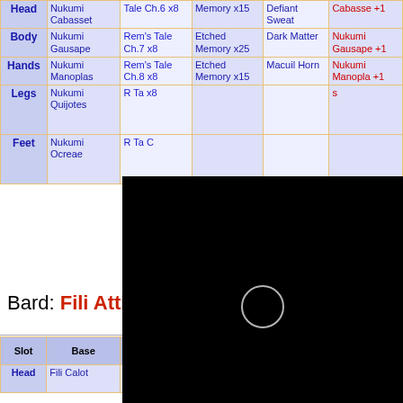| Slot | Base | Required Item | Job Ingredient | Slot Ingredient | Res |
| --- | --- | --- | --- | --- | --- |
| Head | Nukumi Cabasset | Tale Ch.6 x8 | Memory x15 | Defiant Sweat | Cabasse +1 |
| Body | Nukumi Gausape | Rem's Tale Ch.7 x8 | Etched Memory x25 | Dark Matter | Nukumi Gausape +1 |
| Hands | Nukumi Manoplas | Rem's Tale Ch.8 x8 | Etched Memory x15 | Macuil Horn | Nukumi Manopla +1 |
| Legs | Nukumi Quijotes | R... Ta... x8 |  |  | s |
| Feet | Nukumi Ocreae | R... Ta... C... |  |  |  |
[Figure (other): Black loading overlay with a circular spinner in the center, obscuring part of the table]
Bard: Fili Attire +1 Set [edit]
| Slot | Base | Required Item | Job Ingredient | Slot Ingredient | Res |
| --- | --- | --- | --- | --- | --- |
| Head | Fili Calot | Rem's Tale Ch.6 x8 | Etched Memory x15 | Defiant Sweat | Fili Ca... |